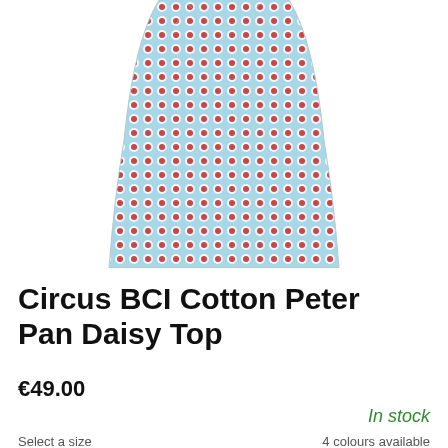[Figure (photo): A light blue sleeveless top/shirt with a small daisy/circle pattern in red and white, displayed on a white background. The garment is slightly flared at the bottom.]
Circus BCI Cotton Peter Pan Daisy Top
€49.00
In stock
4 colours available